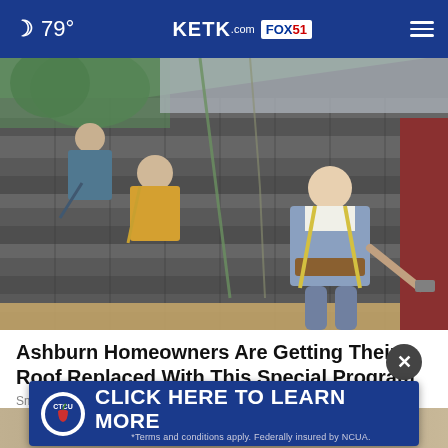🌙 79° | KETK.com FOX51
[Figure (photo): Workers installing shingles on a residential roof, wearing safety harnesses; one worker in foreground hammering while others work in background]
Ashburn Homeowners Are Getting Their Roof Replaced With This Special Program
Smart
[Figure (infographic): CTCU advertisement banner: CLICK HERE TO LEARN MORE. *Terms and conditions apply. Federally insured by NCUA.]